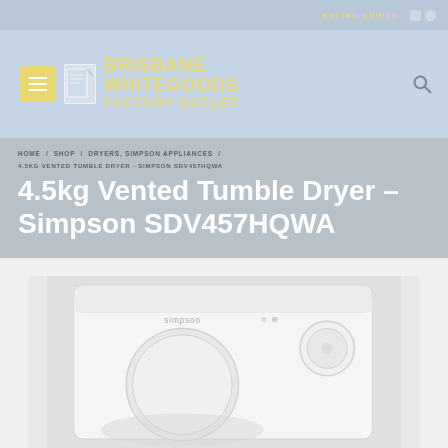BUYING GUIDES
[Figure (logo): Brisbane Whitegoods Factory Outlet logo with hamburger menu and search icon]
HOME / SHOP / DRYERS, SIMPSON APPLIANCES / 4.5KG VENTED TUMBLE DRYER - SIMPSON SDV457HQWA
4.5kg Vented Tumble Dryer – Simpson SDV457HQWA
[Figure (photo): White Simpson SDV457HQWA vented tumble dryer appliance, front view showing control knob and Simpson branding]